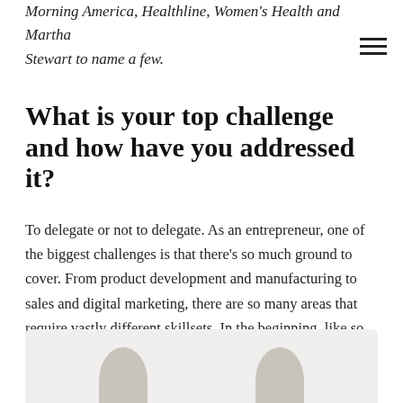Morning America, Healthline, Women's Health and Martha Stewart to name a few.
What is your top challenge and how have you addressed it?
To delegate or not to delegate. As an entrepreneur, one of the biggest challenges is that there's so much ground to cover. From product development and manufacturing to sales and digital marketing, there are so many areas that require vastly different skillsets. In the beginning, like so many entrepreneurs, I wore all the hats, trying to glean insight and gain expertise along the way.
[Figure (photo): Two partially visible person silhouettes/heads at bottom of page against a light gray background]